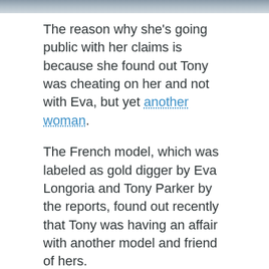[Figure (photo): Partial photo strip at the top of the page showing cropped image of people]
The reason why she's going public with her claims is because she found out Tony was cheating on her and not with Eva, but yet another woman.
The French model, which was labeled as gold digger by Eva Longoria and Tony Parker by the reports, found out recently that Tony was having an affair with another model and friend of hers.
Meanwhile, Eva Longoria and Tony Parker are playing down allegations that a French model has come between them.
Tony Parker revealed in a statement, “I love